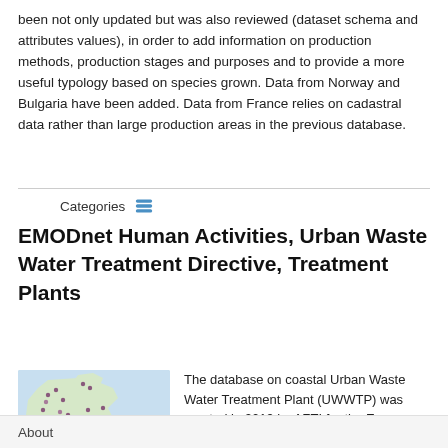been not only updated but was also reviewed (dataset schema and attributes values), in order to add information on production methods, production stages and purposes and to provide a more useful typology based on species grown. Data from Norway and Bulgaria have been added. Data from France relies on cadastral data rather than large production areas in the previous database.
Categories
EMODnet Human Activities, Urban Waste Water Treatment Directive, Treatment Plants
[Figure (map): Map of Europe showing coastal Urban Waste Water Treatment Plant locations marked with purple/maroon dots]
The database on coastal Urban Waste Water Treatment Plant (UWWTP) was created in 2019 by AZTI for the European Marine
About